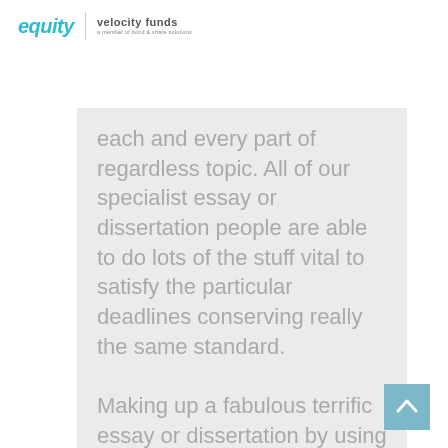equity | velocity funds
each and every part of regardless topic. All of our specialist essay or dissertation people are able to do lots of the stuff vital to satisfy the particular deadlines conserving really the same standard.

Making up a fabulous terrific essay or dissertation by using suitable facts as well as trustworthy advise
[Figure (other): Scroll-to-top button with upward arrow chevron in teal/blue color]